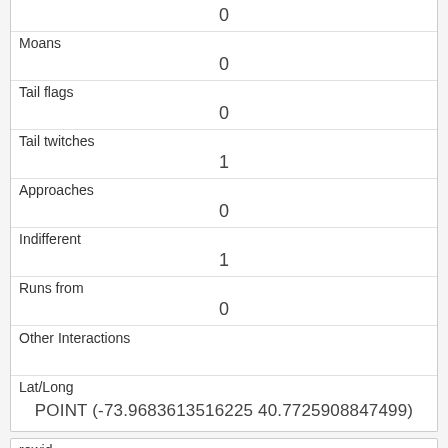| 0 |
| Moans | 0 |
| Tail flags | 0 |
| Tail twitches | 1 |
| Approaches | 0 |
| Indifferent | 1 |
| Runs from | 0 |
| Other Interactions |  |
| Lat/Long | POINT (-73.9683613516225 40.7725908847499) |
| rowid | 13 |
| longitude |  |